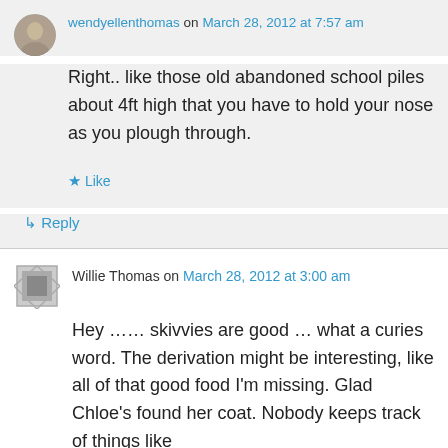wendyellenthomas on March 28, 2012 at 7:57 am
Right.. like those old abandoned school piles about 4ft high that you have to hold your nose as you plough through.
★ Like
↳ Reply
Willie Thomas on March 28, 2012 at 3:00 am
Hey …… skivvies are good … what a curies word. The derivation might be interesting, like all of that good food I'm missing. Glad Chloe's found her coat. Nobody keeps track of things like